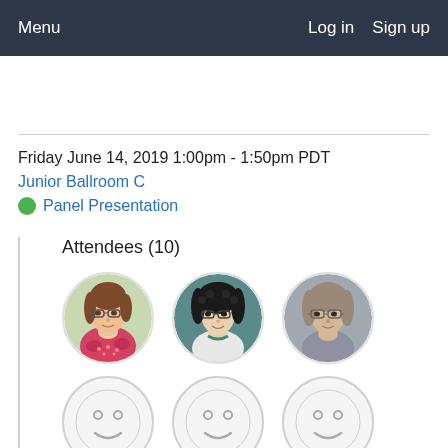Menu   Log in   Sign up
Friday June 14, 2019 1:00pm - 1:50pm PDT
Junior Ballroom C
Panel Presentation
Attendees (10)
[Figure (photo): Three circular profile photos of attendees: a woman with glasses and floral top, a woman with dark curly hair and glasses, and an older woman with glasses]
[Figure (illustration): Three gray smiley face placeholder avatars for attendees without profile photos]